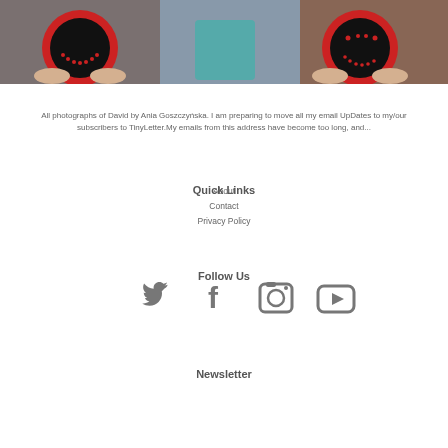[Figure (photo): Photo of people holding red circular objects in front of their faces]
All photographs of David by Ania Goszczyńska. I am preparing to move all my email UpDates to my/our subscribers to TinyLetter.My emails from this address have become too long, and...
Quick Links
About
Contact
Privacy Policy
Follow Us
[Figure (infographic): Social media icons: Twitter, Facebook, Instagram, YouTube]
Newsletter